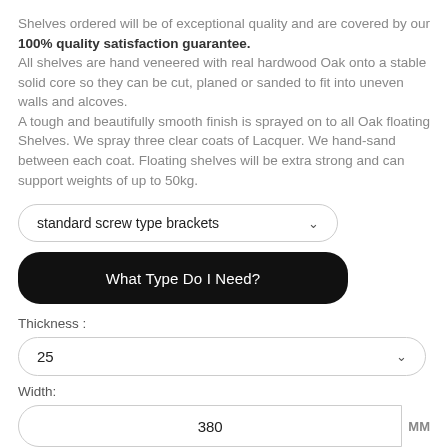Shelves ordered will be of exceptional quality and are covered by our 100% quality satisfaction guarantee. All shelves are hand veneered with real hardwood Oak onto a stable solid core so they can be cut, planed or sanded to fit into uneven walls and alcoves. A tough and beautifully smooth finish is sprayed on to all Oak floating Shelves. We spray three clear coats of Lacquer. We hand-sand between each coat. Floating shelves will be extra strong and can support weights of up to 50kg.
standard screw type brackets
What Type Do I Need?
Thickness :
25
Width:
380